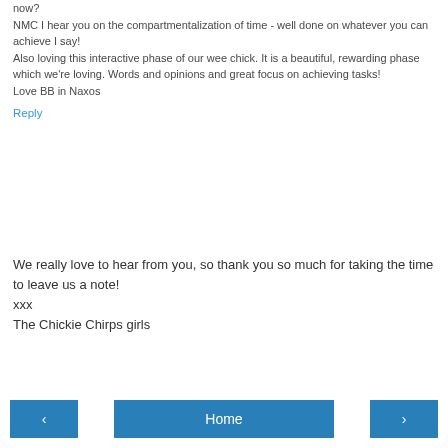now?
NMC I hear you on the compartmentalization of time - well done on whatever you can achieve I say!
Also loving this interactive phase of our wee chick. It is a beautiful, rewarding phase which we're loving. Words and opinions and great focus on achieving tasks!
Love BB in Naxos
Reply
We really love to hear from you, so thank you so much for taking the time to leave us a note!
xxx
The Chickie Chirps girls
< Home >